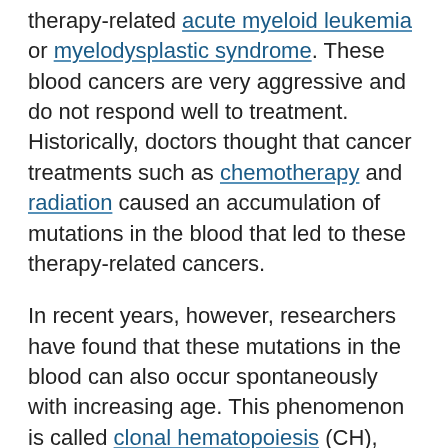therapy-related acute myeloid leukemia or myelodysplastic syndrome. These blood cancers are very aggressive and do not respond well to treatment. Historically, doctors thought that cancer treatments such as chemotherapy and radiation caused an accumulation of mutations in the blood that led to these therapy-related cancers.
In recent years, however, researchers have found that these mutations in the blood can also occur spontaneously with increasing age. This phenomenon is called clonal hematopoiesis (CH), and it's found in 10 to 20% of all people over age 70. The presence of CH increases the risk of developing a blood cancer. Using data from MSK-IMPACT™, Memorial Sloan Kettering's clinical genomic sequencing test, researchers have shown that CH is also frequent in cancer patients.